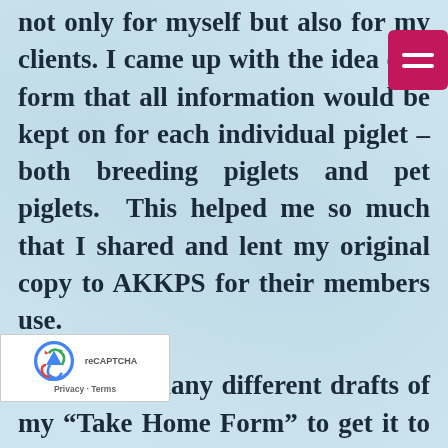not only for myself but also for my clients. I came up with the idea of a form that all information would be kept on for each individual piglet – both breeding piglets and pet piglets.  This helped me so much that I shared and lent my original copy to AKKPS for their members use.
It took me many different drafts of my “Take Home Form” to get it to where I was satisfied - I am currently on my 4th revision! There are still changes that I am making for the next time the are printed. The forms are carbon paper - r me and one for my buyer. This “Take